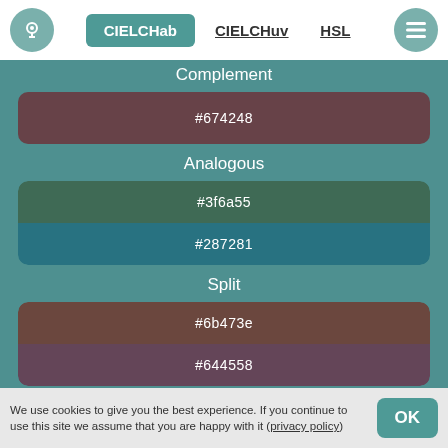CIELCHab  CIELCHuv  HSL
Complement
#674248
Analogous
#3f6a55
#287281
Split
#6b473e
#644558
Triad
#6e553b
We use cookies to give you the best experience. If you continue to use this site we assume that you are happy with it (privacy policy)